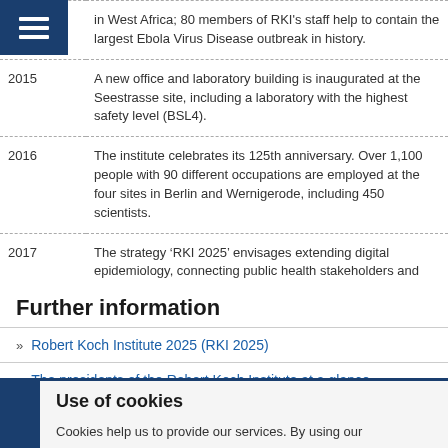| Year | Event |
| --- | --- |
|  | in West Africa; 80 members of RKI's staff help to contain the largest Ebola Virus Disease outbreak in history. |
| 2015 | A new office and laboratory building is inaugurated at the Seestrasse site, including a laboratory with the highest safety level (BSL4). |
| 2016 | The institute celebrates its 125th anniversary. Over 1,100 people with 90 different occupations are employed at the four sites in Berlin and Wernigerode, including 450 scientists. |
| 2017 | The strategy ‘RKI 2025’ envisages extending digital epidemiology, connecting public health stakeholders and taking on greater responsibility at international level. |
Further information
Robert Koch Institute 2025 (RKI 2025)
The presidents of the Robert Koch Institute at a glance
Use of cookies
Cookies help us to provide our services. By using our